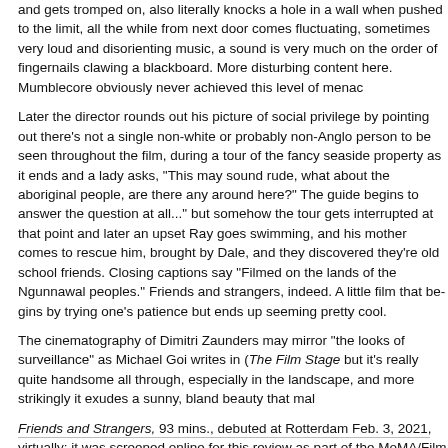and gets tromped on, also literally knocks a hole in a wall when pushed to the limit, all the while from next door comes fluctuating, sometimes very loud and disorienting music, a sound is very much on the order of fingernails clawing a blackboard. More disturbing content here. Mumblecore obviously never achieved this level of menace or disturbing content.
Later the director rounds out his picture of social privilege by pointing out there's not a single non-white or probably non-Anglo person to be seen throughout the film, during a tour of the fancy seaside property as it ends and a lady asks, "This may sound rude, what about the aboriginal people, are there any around here?" The guide begins to answer the question at all..." but somehow the tour gets interrupted at that point and later an upset Ray goes swimming, and his mother comes to rescue him, brought by Dale, and they discovered they're old school friends. Closing captions say "Filmed on the lands of the Ngunnawal peoples." Friends and strangers, indeed. A little film that begins by trying one's patience but ends up seeming pretty cool.
The cinematography of Dimitri Zaunders may mirror "the looks of surveillance" as Michael Goi writes in (The Film Stage but it's really quite handsome all through, especially in the landscape, and more strikingly it exudes a sunny, bland beauty that makes the film work.
Friends and Strangers, 93 mins., debuted at Rotterdam Feb. 3, 2021, virtually; it was screened online for this review as part of the MoMA/Film at Lincoln Center New Directors/New Films (Apr. 28-May 8, 2021).
US release by Metrograph in theater and at home starting Feb. 25, 2022.
Last edited by Chris Knipp; 02-14-2022 at 04:16 PM.